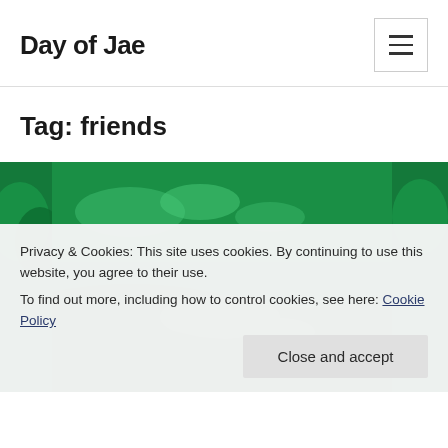Day of Jae
Tag: friends
[Figure (photo): Green landscape/nature photo with trees and terrain visible, shown in tiled/collage format with green dominant tones]
Privacy & Cookies: This site uses cookies. By continuing to use this website, you agree to their use.
To find out more, including how to control cookies, see here: Cookie Policy
Close and accept